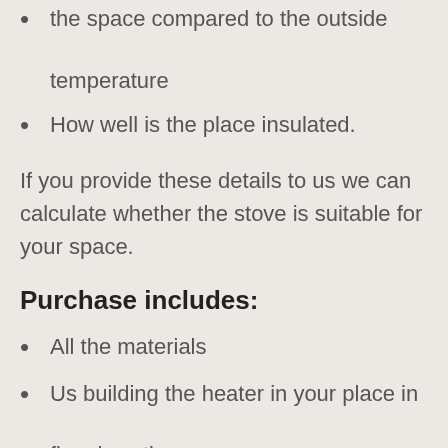the space compared to the outside temperature
How well is the place insulated.
If you provide these details to us we can calculate whether the stove is suitable for your space.
Purchase includes:
All the materials
Us building the heater in your place in five days time